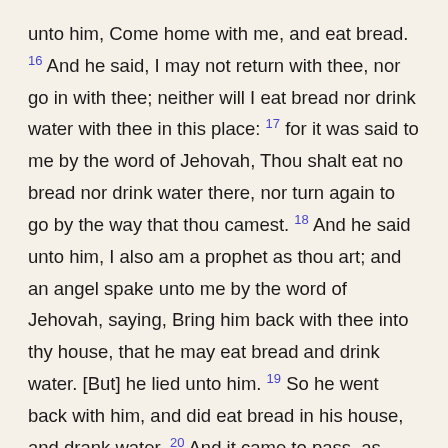unto him, Come home with me, and eat bread. 16 And he said, I may not return with thee, nor go in with thee; neither will I eat bread nor drink water with thee in this place: 17 for it was said to me by the word of Jehovah, Thou shalt eat no bread nor drink water there, nor turn again to go by the way that thou camest. 18 And he said unto him, I also am a prophet as thou art; and an angel spake unto me by the word of Jehovah, saying, Bring him back with thee into thy house, that he may eat bread and drink water. [But] he lied unto him. 19 So he went back with him, and did eat bread in his house, and drank water. 20 And it came to pass, as they sat at the table, that the word of Jehovah came unto the prophet that brought him back: 21 and he cried unto the man of